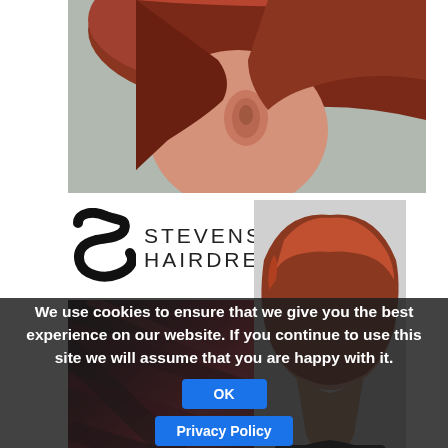[Figure (photo): Close-up of back/side of a head with short auburn/red cropped hair, showing ear]
[Figure (logo): Steven Scarr Hairdressing logo with stylized S lettermark and name in spaced capitals]
[Figure (photo): Close-up of dark red/crimson hair colour strands showing colour treatment]
[Figure (photo): Back view of woman with short auburn pixie cut hairstyle]
Short hairstyles have never been so popular and are surprisingly versatile. Pixie cuts, cropped hairstyles and short bobs are popular looks.
Short hairstyles also take hair colour easily because the hair is healthy and strong – so why not consider a new shade to go with your new cut?  Find out more about our hair colour services here
We use cookies to ensure that we give you the best experience on our website. If you continue to use this site we will assume that you are happy with it.
For a quirky look wear your hair slicked back with a quiff or add texture to short cuts with a styling paste or putty. Asymmetri